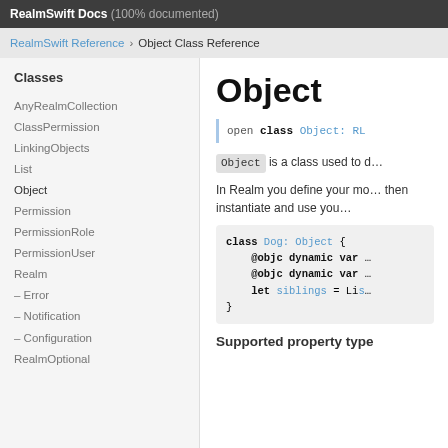RealmSwift Docs (100% documented)
RealmSwift Reference > Object Class Reference
Classes
AnyRealmCollection
ClassPermission
LinkingObjects
List
Object
Permission
PermissionRole
PermissionUser
Realm
– Error
– Notification
– Configuration
RealmOptional
Object
Object is a class used to d…
In Realm you define your mo… then instantiate and use you…
[Figure (screenshot): Code block showing: class Dog: Object { @objc dynamic var … @objc dynamic var … let siblings = Lis… }]
Supported property type